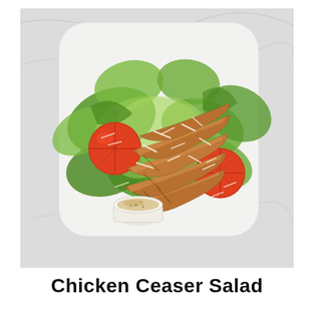[Figure (photo): Overhead view of a chicken Caesar salad on a white square plate. The salad features romaine lettuce leaves, sliced grilled chicken breast, two tomato halves, shredded parmesan cheese, and a small round white cup of Caesar dressing on the side. The plate sits on a white marble surface.]
Chicken Ceaser Salad